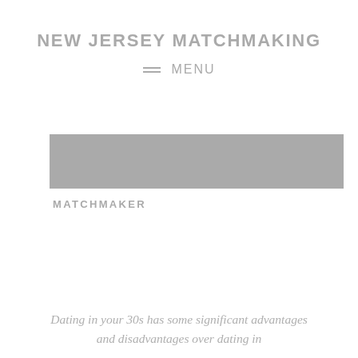NEW JERSEY MATCHMAKING
MENU
[Figure (photo): Gray rectangular image placeholder representing a matchmaker photo]
MATCHMAKER
Dating in your 30s has some significant advantages and disadvantages over dating in your 20s. You are sitting on